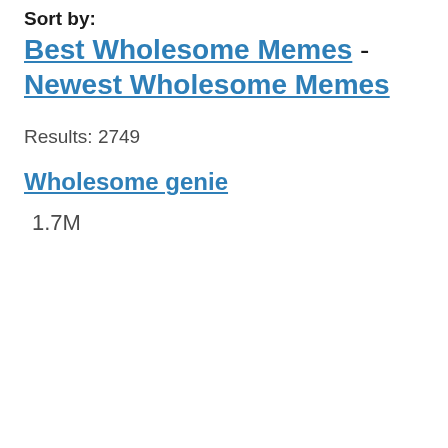Sort by:
Best Wholesome Memes - Newest Wholesome Memes
Results: 2749
Wholesome genie
1.7M